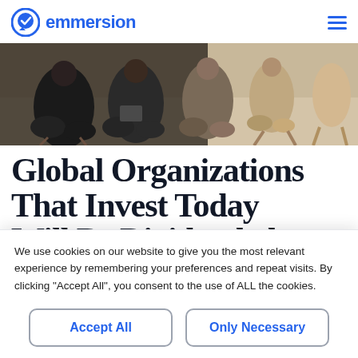emmersion
[Figure (photo): People sitting in chairs in a group meeting or seminar setting, viewed from the waist down, blurred/bokeh background]
Global Organizations That Invest Today Will Be Dividended
We use cookies on our website to give you the most relevant experience by remembering your preferences and repeat visits. By clicking “Accept All”, you consent to the use of ALL the cookies.
Accept All
Only Necessary